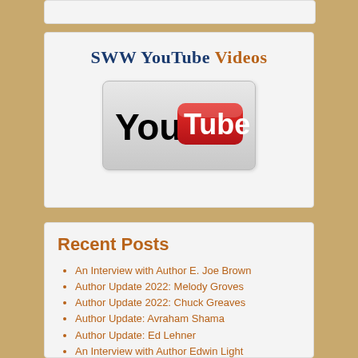[Figure (logo): SWW YouTube Videos header with YouTube logo image]
Recent Posts
An Interview with Author E. Joe Brown
Author Update 2022: Melody Groves
Author Update 2022: Chuck Greaves
Author Update: Avraham Shama
Author Update: Ed Lehner
An Interview with Author Edwin Light
An Interview with Author Judy Willmore